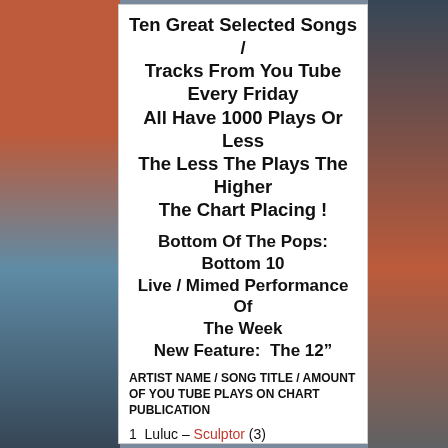Ten Great Selected Songs / Tracks From You Tube Every Friday All Have 1000 Plays Or Less The Less The Plays The Higher The Chart Placing !
Bottom Of The Pops: Bottom 10 Live / Mimed Performance Of The Week
New Feature:  The 12"
ARTIST NAME / SONG TITLE / AMOUNT OF YOU TUBE PLAYS ON CHART PUBLICATION
1  Luluc – Sculptor (3)
Just Listen, beautiful. They count the National